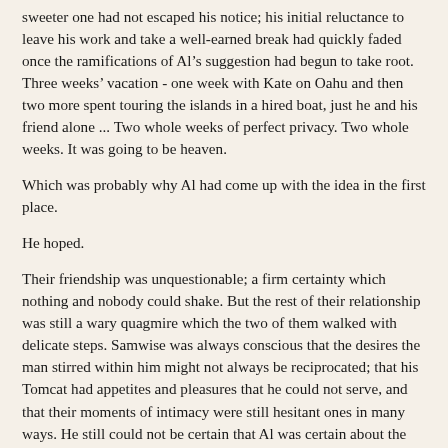sweeter one had not escaped his notice; his initial reluctance to leave his work and take a well-earned break had quickly faded once the ramifications of Al’s suggestion had begun to take root. Three weeks’ vacation - one week with Kate on Oahu and then two more spent touring the islands in a hired boat, just he and his friend alone ... Two whole weeks of perfect privacy. Two whole weeks. It was going to be heaven.
Which was probably why Al had come up with the idea in the first place.
He hoped.
Their friendship was unquestionable; a firm certainty which nothing and nobody could shake. But the rest of their relationship was still a wary quagmire which the two of them walked with delicate steps. Samwise was always conscious that the desires the man stirred within him might not always be reciprocated; that his Tomcat had appetites and pleasures that he could not serve, and that their moments of intimacy were still hesitant ones in many ways. He still could not be certain that Al was certain about the way he felt. The time they had to be alone together was precious and frustratingly sparse; StarBright was a tight-knit community where gossip and rumour were part of the internal politics and only fools made themselves obvious targets. Neither Sam nor Alonzo